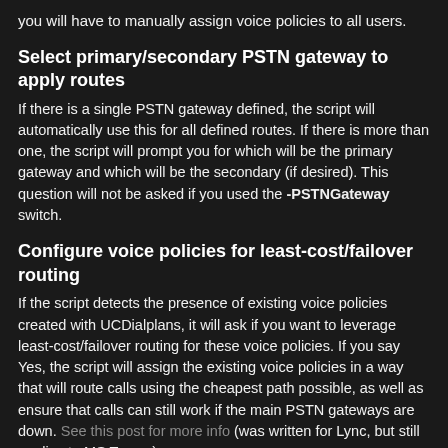you will have to manually assign voice policies to all users.
Select primary/secondary PSTN gateway to apply routes
If there is a single PSTN gateway defined, the script will automatically use this for all defined routes. If there is more than one, the script will prompt you for which will be the primary gateway and which will be the secondary (if desired). This question will not be asked if you used the -PSTNGateway switch.
Configure voice policies for least-cost/failover routing
If the script detects the presence of existing voice policies created with UCDialplans, it will ask if you want to leverage least-cost/failover routing for these voice policies. If you say Yes, the script will assign the existing voice policies in a way that will route calls using the cheapest path possible, as well as ensure that calls can still work if the main PSTN gateways are down. See this post for more info (was written for Lync, but still applies to MS Teams)